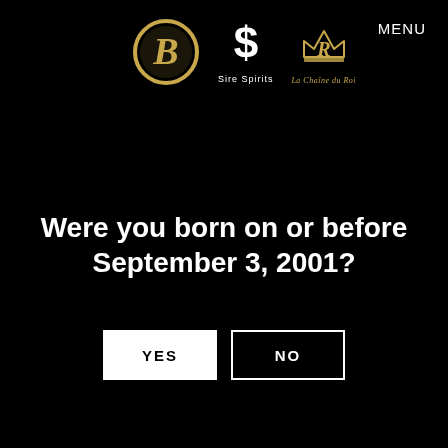MENU
[Figure (logo): Three brand logos: a gold circle with stylized B, a dollar-sign Sire Spirits logo, and a crowned R La Chaine du Roi logo]
Were you born on or before September 3, 2001?
YES
NO